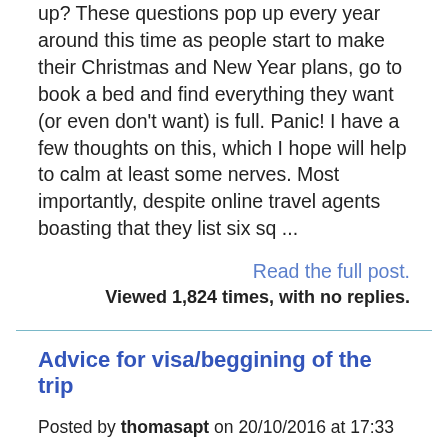up? These questions pop up every year around this time as people start to make their Christmas and New Year plans, go to book a bed and find everything they want (or even don't want) is full. Panic! I have a few thoughts on this, which I hope will help to calm at least some nerves. Most importantly, despite online travel agents boasting that they list six sq ...
Read the full post.
Viewed 1,824 times, with no replies.
Advice for visa/beggining of the trip
Posted by thomasapt on 20/10/2016 at 17:33
Hello, me and my friend are traveling from Brazil to Southeast Asia for 2 months. On the